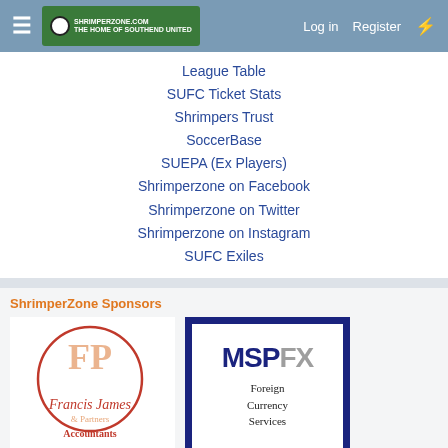Navigation bar with menu, logo, Log in, Register
League Table
SUFC Ticket Stats
Shrimpers Trust
SoccerBase
SUEPA (Ex Players)
Shrimperzone on Facebook
Shrimperzone on Twitter
Shrimperzone on Instagram
SUFC Exiles
ShrimperZone Sponsors
[Figure (logo): Francis James & Partners Accountants logo — circular design with FP initials in orange/rose color]
[Figure (logo): MSPFX Foreign Currency Services logo — dark navy border box with MSPFX text and Foreign Currency Services subtitle]